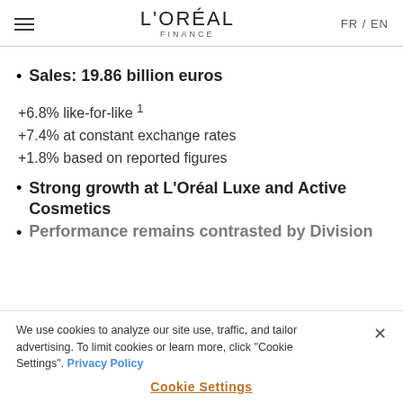L'ORÉAL FINANCE  FR / EN
Sales: 19.86 billion euros
+6.8% like-for-like ¹
+7.4% at constant exchange rates
+1.8% based on reported figures
Strong growth at L'Oréal Luxe and Active Cosmetics
Performance remains contrasted by Division
We use cookies to analyze our site use, traffic, and tailor advertising. To limit cookies or learn more, click "Cookie Settings". Privacy Policy
Cookie Settings